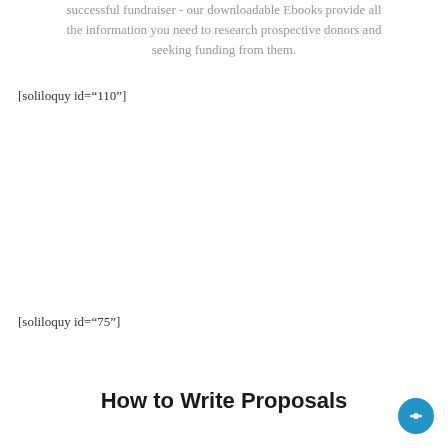successful fundraiser - our downloadable Ebooks provide all the information you need to research prospective donors and seeking funding from them.
[soliloquy id="110"]
[soliloquy id="75"]
How to Write Proposals